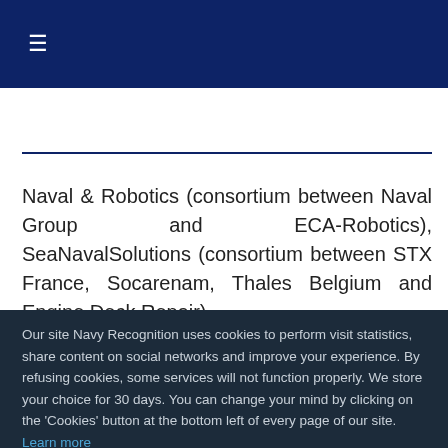≡
Naval & Robotics (consortium between Naval Group and ECA-Robotics), SeaNavalSolutions (consortium between STX France, Socarenam, Thales Belgium and Engine Deck Repair)
Our site Navy Recognition uses cookies to perform visit statistics, share content on social networks and improve your experience. By refusing cookies, some services will not function properly. We store your choice for 30 days. You can change your mind by clicking on the 'Cookies' button at the bottom left of every page of our site. Learn more
Settings  Accept all  Refuse all